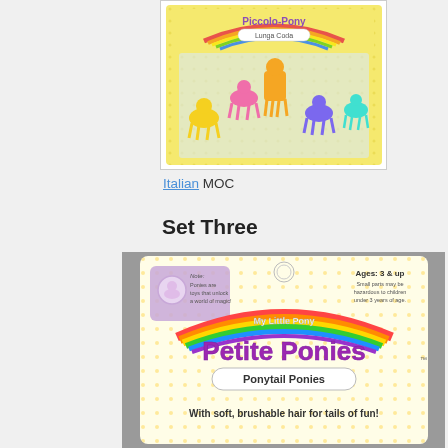[Figure (photo): Photo of Italian MOC Piccolo-Pony Lunga Coda toy set in packaging, showing colorful miniature ponies in a blister card]
Italian MOC
Set Three
[Figure (photo): Photo of My Little Pony Petite Ponies Ponytail Ponies package, Ages 3 & up, with soft brushable hair for tails of fun!]